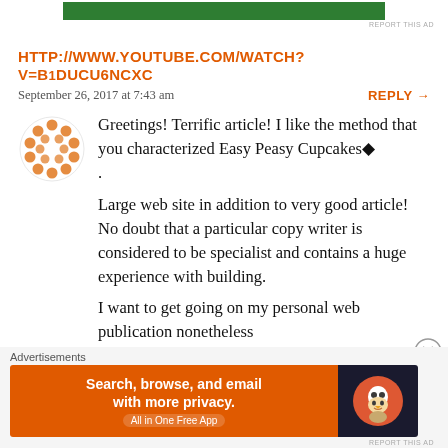[Figure (other): Green advertisement bar at top of page]
HTTP://WWW.YOUTUBE.COM/WATCH?V=B1DUCU6NCXC
September 26, 2017 at 7:43 am
REPLY →
Greetings! Terrific article! I like the method that you characterized Easy Peasy Cupcakes◆ . Large web site in addition to very good article! No doubt that a particular copy writer is considered to be specialist and contains a huge experience with building.
I want to get going on my personal web publication nonetheless
[Figure (other): DuckDuckGo advertisement banner: Search, browse, and email with more privacy. All in One Free App]